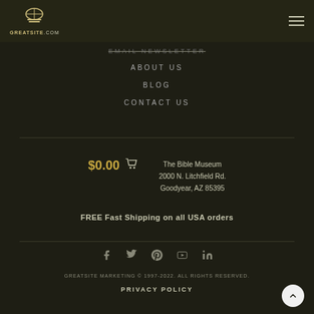GreatSite.com logo and navigation menu
EMAIL NEWSLETTER
ABOUT US
BLOG
CONTACT US
$0.00 [cart icon]
The Bible Museum
2000 N. Litchfield Rd.
Goodyear, AZ 85395
FREE Fast Shipping on all USA orders
[Figure (infographic): Social media icons: Facebook, Twitter, Pinterest, YouTube, LinkedIn]
GREATSITE MARKETING © 1997-2022. ALL RIGHTS RESERVED.
PRIVACY POLICY